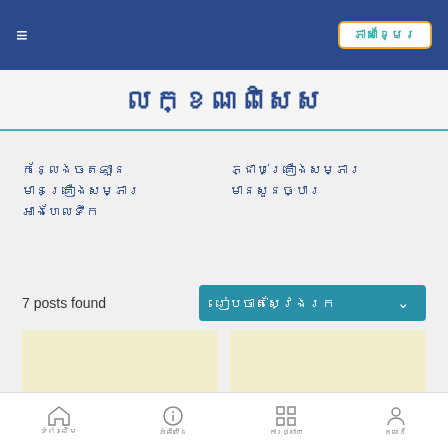ភាសាខ្មែរ
លក្ខណពិសេស
កន្លែងចតឡាន មានគ្រឿងសម្ភារ អាងហែលទឹក
ភ្ជាប់គ្រឿងសម្ភារ មានសួនច្បារ
7 posts found
រៀបចាត់ស្វែងរក
[Figure (other): Two yellow card placeholders in a 2-column grid]
ទំព័រដើម | អំពីយើង | ការផ្សាយ | គណនី